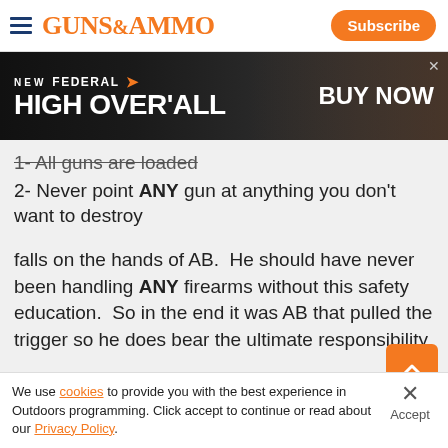GUNS&AMMO | Subscribe
[Figure (other): NEW FEDERAL HIGH OVER ALL - BUY NOW advertisement banner with dark background and orange elements]
1- All guns are loaded
2- Never point ANY gun at anything you don't want to destroy
falls on the hands of AB.  He should have never been handling ANY firearms without this safety education.  So in the end it was AB that pulled the trigger so he does bear the ultimate responsibility.
We use cookies to provide you with the best experience in Outdoors programming. Click accept to continue or read about our Privacy Policy.